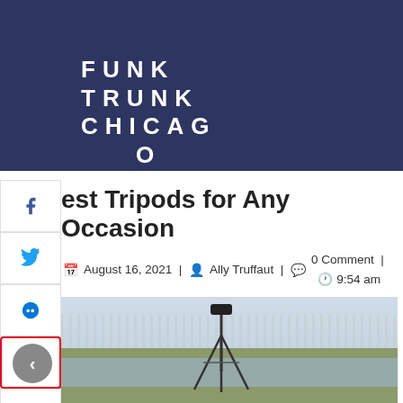FUNK TRUNK CHICAGO
est Tripods for Any Occasion
August 16, 2021 | Ally Truffaut | 0 Comment | 9:54 am
[Figure (photo): A camera tripod set up outdoors near a lake or river, with bare trees in the background and overcast sky. Landscape scene used as hero image for article about tripods.]